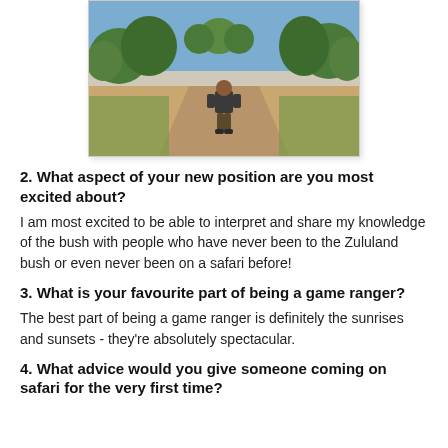[Figure (photo): A man standing on a dry sandy path in the Zululand bush, surrounded by trees and green grass under a blue sky.]
2. What aspect of your new position are you most excited about?
I am most excited to be able to interpret and share my knowledge of the bush with people who have never been to the Zululand bush or even never been on a safari before!
3. What is your favourite part of being a game ranger?
The best part of being a game ranger is definitely the sunrises and sunsets - they're absolutely spectacular.
4. What advice would you give someone coming on safari for the very first time?